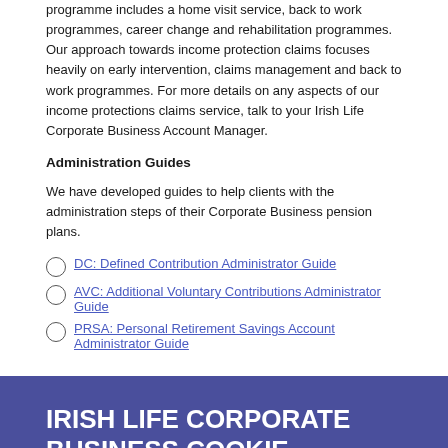programme includes a home visit service, back to work programmes, career change and rehabilitation programmes. Our approach towards income protection claims focuses heavily on early intervention, claims management and back to work programmes. For more details on any aspects of our income protections claims service, talk to your Irish Life Corporate Business Account Manager.
Administration Guides
We have developed guides to help clients with the administration steps of their Corporate Business pension plans.
DC: Defined Contribution Administrator Guide
AVC: Additional Voluntary Contributions Administrator Guide
PRSA: Personal Retirement Savings Account Administrator Guide
IRISH LIFE CORPORATE BUSINESS COOKIE NOTICE
We use cookies to create a better experience for you.. Like all websites based in